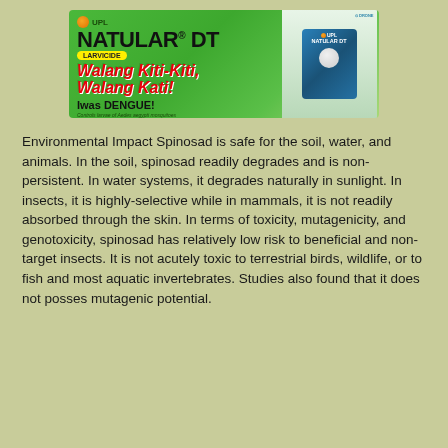[Figure (illustration): Advertisement banner for Natular DT larvicide by UPL. Green background with bold black text 'NATULAR DT' with registered trademark, red italic text 'Walang Kiti-Kiti, Walang Kati!', black bold text 'Iwas DENGUE!', a product package on the right side, and UPL branding at top left and top right.]
Environmental Impact Spinosad is safe for the soil, water, and animals. In the soil, spinosad readily degrades and is non-persistent. In water systems, it degrades naturally in sunlight. In insects, it is highly-selective while in mammals, it is not readily absorbed through the skin. In terms of toxicity, mutagenicity, and genotoxicity, spinosad has relatively low risk to beneficial and non-target insects. It is not acutely toxic to terrestrial birds, wildlife, or to fish and most aquatic invertebrates. Studies also found that it does not posses mutagenic potential.